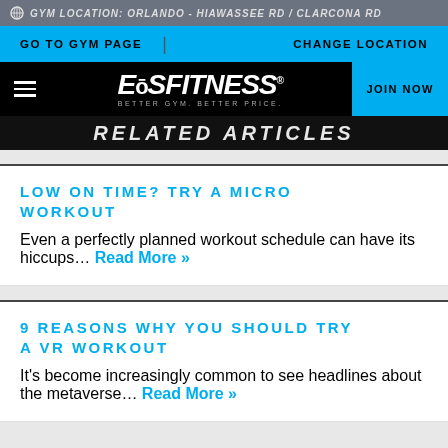GYM LOCATION: ORLANDO - HIAWASSEE RD / CLARCONA RD
GO TO GYM PAGE | CHANGE LOCATION
EōS FITNESS - BETTER GYM. BETTER PRICE. | JOIN NOW
RELATED ARTICLES
LOW ON TIME? TRY A MICRO WORKOUT
Even a perfectly planned workout schedule can have its hiccups... Read More »
9 REASONS WHY YOU SHOULD TRY A VR WORKOUT
It's become increasingly common to see headlines about the metaverse... Read More »